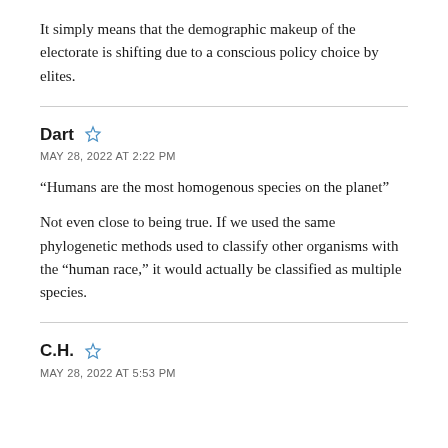It simply means that the demographic makeup of the electorate is shifting due to a conscious policy choice by elites.
Dart  MAY 28, 2022 AT 2:22 PM  “Humans are the most homogenous species on the planet”  Not even close to being true. If we used the same phylogenetic methods used to classify other organisms with the “human race,” it would actually be classified as multiple species.
C.H.  MAY 28, 2022 AT 5:53 PM